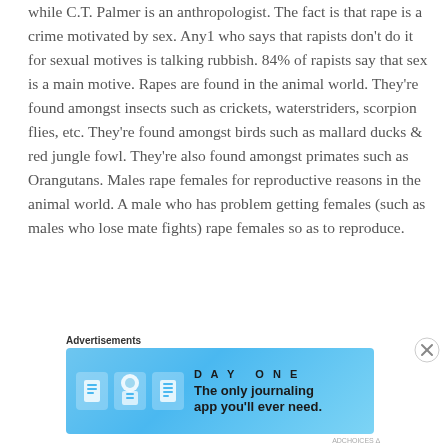while C.T. Palmer is an anthropologist. The fact is that rape is a crime motivated by sex. Any1 who says that rapists don't do it for sexual motives is talking rubbish. 84% of rapists say that sex is a main motive. Rapes are found in the animal world. They're found amongst insects such as crickets, waterstriders, scorpion flies, etc. They're found amongst birds such as mallard ducks & red jungle fowl. They're also found amongst primates such as Orangutans. Males rape females for reproductive reasons in the animal world. A male who has problem getting females (such as males who lose mate fights) rape females so as to reproduce.
Advertisements
[Figure (screenshot): Advertisement banner for DAY ONE journaling app with light blue background, app icons, and tagline 'The only journaling app you'll ever need.']